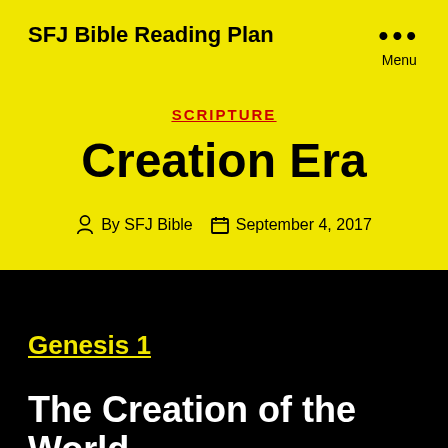SFJ Bible Reading Plan
Menu
SCRIPTURE
Creation Era
By SFJ Bible   September 4, 2017
Genesis 1
The Creation of the World